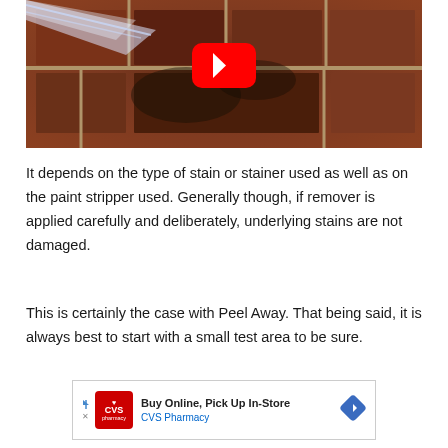[Figure (screenshot): YouTube video thumbnail showing brick surface being cleaned with high-pressure water spray, with red YouTube play button overlay in center]
It depends on the type of stain or stainer used as well as on the paint stripper used. Generally though, if remover is applied carefully and deliberately, underlying stains are not damaged.
This is certainly the case with Peel Away. That being said, it is always best to start with a small test area to be sure.
[Figure (screenshot): CVS Pharmacy advertisement: Buy Online, Pick Up In-Store with CVS Pharmacy logo and navigation arrow icon]